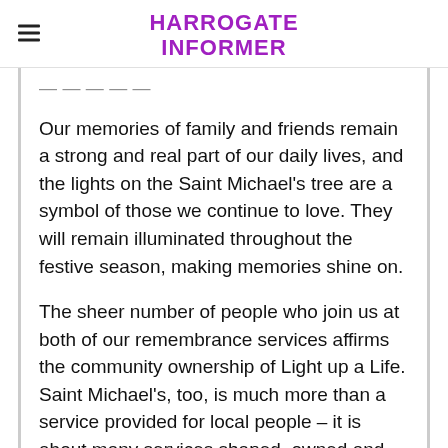HARROGATE INFORMER
Our memories of family and friends remain a strong and real part of our daily lives, and the lights on the Saint Michael's tree are a symbol of those we continue to love. They will remain illuminated throughout the festive season, making memories shine on.
The sheer number of people who join us at both of our remembrance services affirms the community ownership of Light up a Life. Saint Michael's, too, is much more than a service provided for local people – it is about many services shaped, owned and supported by the community across three decades.